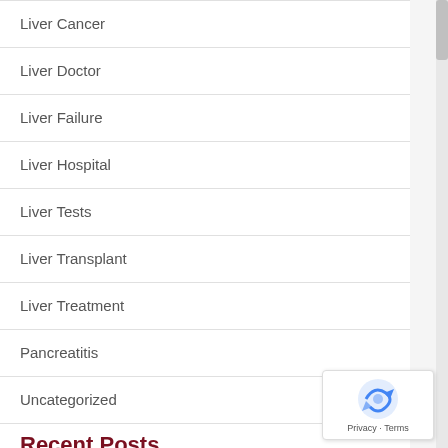Liver Cancer
Liver Doctor
Liver Failure
Liver Hospital
Liver Tests
Liver Transplant
Liver Treatment
Pancreatitis
Uncategorized
Recent Posts